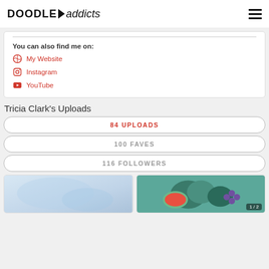DoodleAddicts
You can also find me on:
My Website
Instagram
YouTube
Tricia Clark's Uploads
84 UPLOADS
100 FAVES
116 FOLLOWERS
[Figure (photo): Thumbnail image left - light blue watercolor wash]
[Figure (photo): Thumbnail image right - colorful fruits pattern, badge showing 1/2]